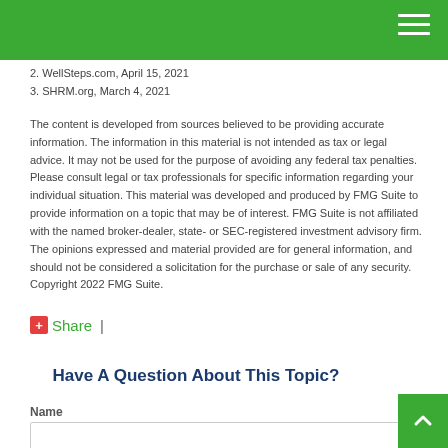2. WellSteps.com, April 15, 2021
3. SHRM.org, March 4, 2021
The content is developed from sources believed to be providing accurate information. The information in this material is not intended as tax or legal advice. It may not be used for the purpose of avoiding any federal tax penalties. Please consult legal or tax professionals for specific information regarding your individual situation. This material was developed and produced by FMG Suite to provide information on a topic that may be of interest. FMG Suite is not affiliated with the named broker-dealer, state- or SEC-registered investment advisory firm. The opinions expressed and material provided are for general information, and should not be considered a solicitation for the purchase or sale of any security. Copyright 2022 FMG Suite.
Share  |
Have A Question About This Topic?
Name